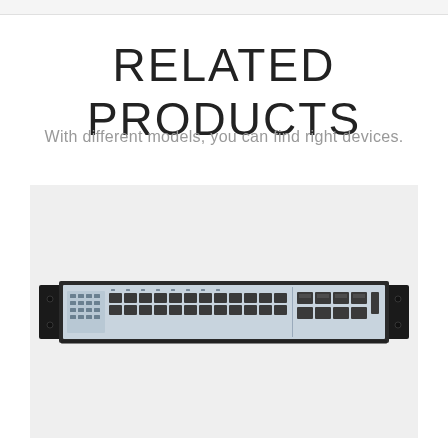RELATED PRODUCTS
With different models, you can find right devices.
[Figure (photo): A 1U rack-mounted network switch with multiple SFP fiber ports, RJ45 ethernet ports, and status indicator LEDs, shown in a light gray product photo style.]